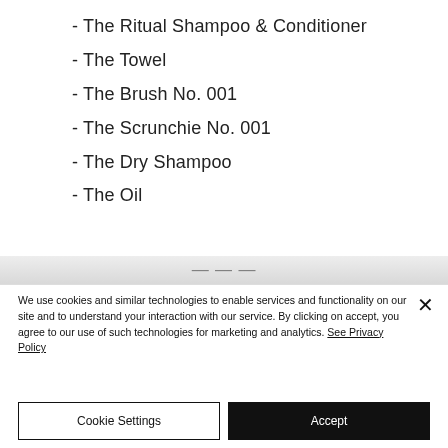- The Ritual Shampoo & Conditioner
- The Towel
- The Brush No. 001
- The Scrunchie No. 001
- The Dry Shampoo
- The Oil
We use cookies and similar technologies to enable services and functionality on our site and to understand your interaction with our service. By clicking on accept, you agree to our use of such technologies for marketing and analytics. See Privacy Policy
Cookie Settings
Accept